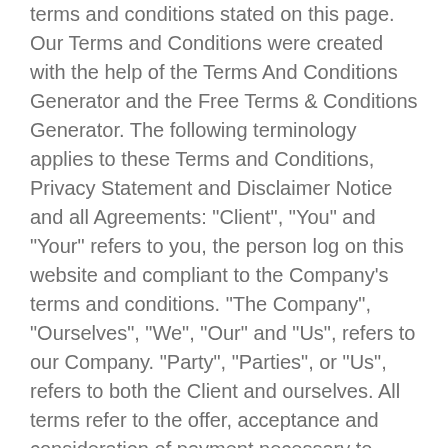terms and conditions stated on this page. Our Terms and Conditions were created with the help of the Terms And Conditions Generator and the Free Terms & Conditions Generator. The following terminology applies to these Terms and Conditions, Privacy Statement and Disclaimer Notice and all Agreements: "Client", "You" and "Your" refers to you, the person log on this website and compliant to the Company's terms and conditions. "The Company", "Ourselves", "We", "Our" and "Us", refers to our Company. "Party", "Parties", or "Us", refers to both the Client and ourselves. All terms refer to the offer, acceptance and consideration of payment necessary to undertake the process of our assistance to the Client in the most appropriate manner for the express purpose of meeting the Client's needs in respect of provision of the Company's services, in accordance